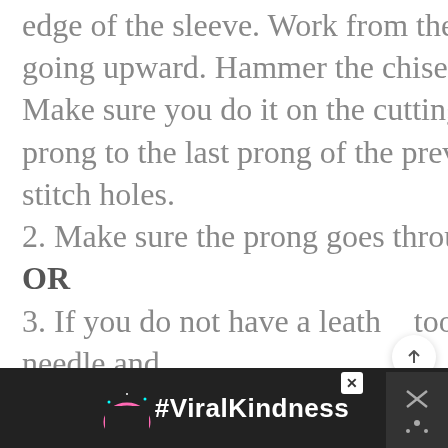edge of the sleeve. Work from the bottom right corner and going upward. Hammer the chisel to cut through the leather. Make sure you do it on the cutting mat. Position the first prong to the last prong of the previous cut, repeat to cut more stitch holes.
2. Make sure the prong goes through all layers of the leather.
OR
3. If you do not have a leather tool, you may use a wing needle and
[Figure (screenshot): Advertisement bar at bottom: dark background with rainbow illustration and #ViralKindness text in white, with a close button (X) and side icons.]